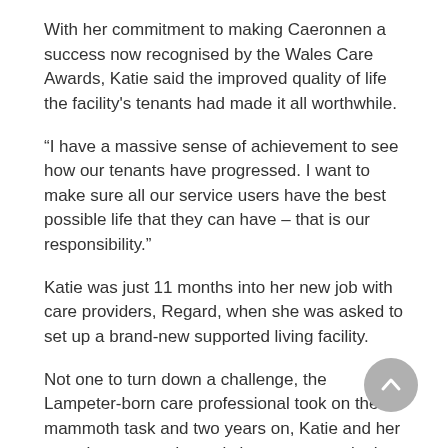With her commitment to making Caeronnen a success now recognised by the Wales Care Awards, Katie said the improved quality of life the facility's tenants had made it all worthwhile.
“I have a massive sense of achievement to see how our tenants have progressed. I want to make sure all our service users have the best possible life that they can have – that is our responsibility.”
Katie was just 11 months into her new job with care providers, Regard, when she was asked to set up a brand-new supported living facility.
Not one to turn down a challenge, the Lampeter-born care professional took on the mammoth task and two years on, Katie and her team have seen dramatic improvements in the lives of Caeronnen’s long-term tenants, who have a range of learning disabilities and mental health needs.
An avid gym goer and weight lifter, Katie even brought in her love